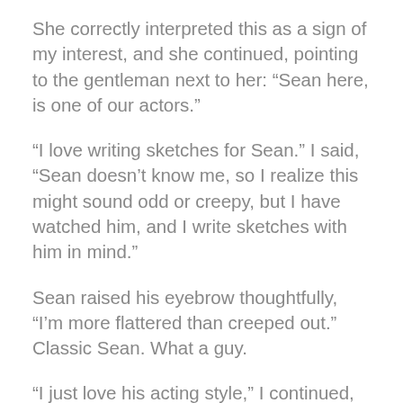She correctly interpreted this as a sign of my interest, and she continued, pointing to the gentleman next to her: “Sean here, is one of our actors.”
“I love writing sketches for Sean.” I said, “Sean doesn’t know me, so I realize this might sound odd or creepy, but I have watched him, and I write sketches with him in mind.”
Sean raised his eyebrow thoughtfully, “I’m more flattered than creeped out.” Classic Sean. What a guy.
“I just love his acting style,” I continued, justifying my writing methodology. Obviously I didn’t have to do that, but I wanted to, so she would understand I am a serious writer who could be part of their team.